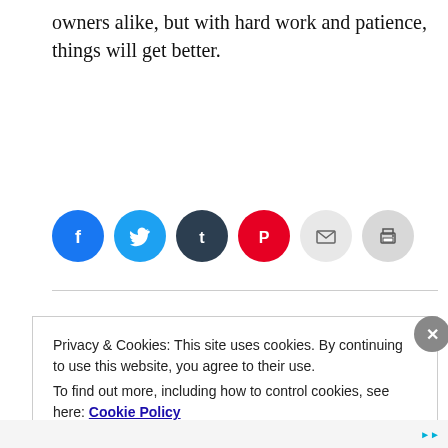owners alike, but with hard work and patience, things will get better.
[Figure (other): Social media share buttons row: Facebook (blue circle), Twitter (light blue circle), Tumblr (dark navy circle), Pinterest (red circle), Email (light grey circle), Print (light grey circle)]
Privacy & Cookies: This site uses cookies. By continuing to use this website, you agree to their use.
To find out more, including how to control cookies, see here: Cookie Policy
Close and accept